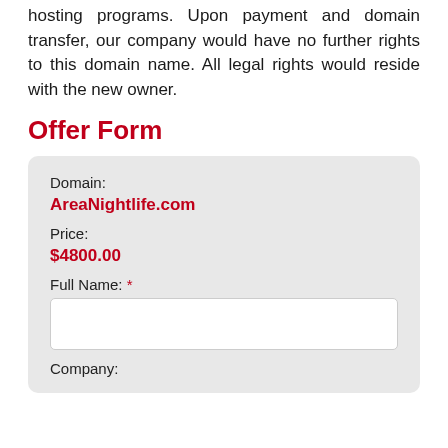hosting programs. Upon payment and domain transfer, our company would have no further rights to this domain name. All legal rights would reside with the new owner.
Offer Form
Domain: AreaNightlife.com
Price: $4800.00
Full Name: *
[text input]
Company: